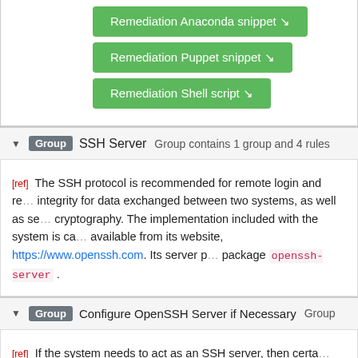[Figure (screenshot): Three green buttons: Remediation Anaconda snippet, Remediation Puppet snippet, Remediation Shell script]
Group  SSH Server  Group contains 1 group and 4 rules
[ref] The SSH protocol is recommended for remote login and re... integrity for data exchanged between two systems, as well as se... cryptography. The implementation included with the system is ca... available from its website, https://www.openssh.com. Its server p... package openssh-server .
Group  Configure OpenSSH Server if Necessary  Group...
[ref] If the system needs to act as an SSH server, then certa... configuration file /etc/ssh/sshd_config . The following re... sshd_config(5) man page for more detailed information.